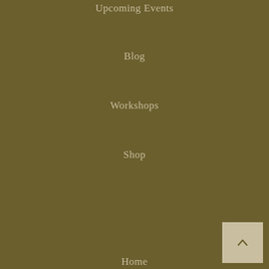Upcoming Events
Blog
Workshops
Shop
Home
About
Portfolio
Books
Upcoming Events
Blog
[Figure (illustration): Scroll-to-top button: a square with a tan/beige background and an upward-pointing caret/arrow icon in the bottom-right corner of the page.]